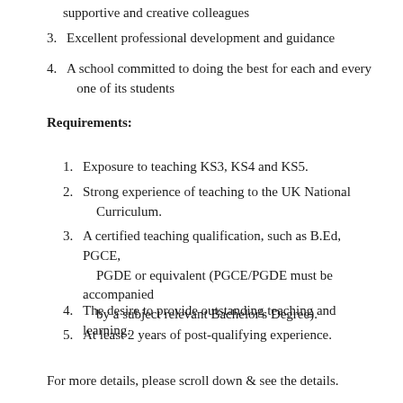supportive and creative colleagues
3. Excellent professional development and guidance
4. A school committed to doing the best for each and every one of its students
Requirements:
1. Exposure to teaching KS3, KS4 and KS5.
2. Strong experience of teaching to the UK National Curriculum.
3. A certified teaching qualification, such as B.Ed, PGCE, PGDE or equivalent (PGCE/PGDE must be accompanied by a subject relevant Bachelor's Degree).
4. The desire to provide outstanding teaching and learning.
5. At least 2 years of post-qualifying experience.
For more details, please scroll down & see the details.